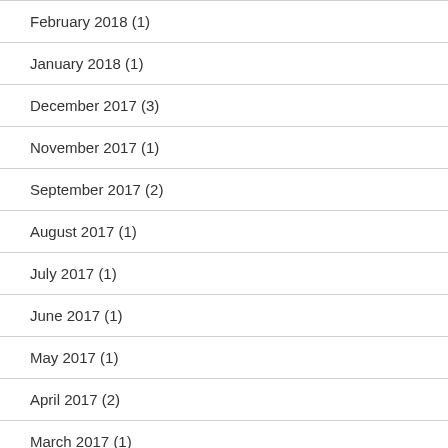February 2018 (1)
January 2018 (1)
December 2017 (3)
November 2017 (1)
September 2017 (2)
August 2017 (1)
July 2017 (1)
June 2017 (1)
May 2017 (1)
April 2017 (2)
March 2017 (1)